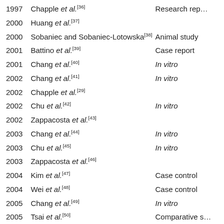| Year | Author | Study Type |
| --- | --- | --- |
| 1997 | Chapple et al.[36] | Research rep… |
| 2000 | Huang et al.[37] |  |
| 2000 | Sobaniec and Sobaniec-Lotowska[38] | Animal study |
| 2001 | Battino et al.[39] | Case report |
| 2001 | Chang et al.[40] | In vitro |
| 2002 | Chang et al.[41] | In vitro |
| 2002 | Chapple et al.[29] |  |
| 2002 | Chu et al.[42] | In vitro |
| 2002 | Zappacosta et al.[43] |  |
| 2003 | Chang et al.[44] | In vitro |
| 2003 | Chu et al.[45] | In vitro |
| 2003 | Zappacosta et al.[46] |  |
| 2004 | Kim et al.[47] | Case control |
| 2004 | Wei et al.[48] | Case control |
| 2005 | Chang et al.[49] | In vitro |
| 2005 | Tsai et al.[50] | Comparative s… |
| 2005 | Panjamurthy et al.[51] | Case control s… |
| 2006 | Buduneli et al.[52] | Follow up stu… |
| 2006 | Chapple[53] | Review |
| 2006 | Garg et al.[54] | Case control… |